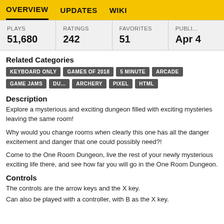OVERVIEW   UPDATES   WIKI
| PLAYS | RATINGS | FAVORITES | PUBLI... |
| --- | --- | --- | --- |
| 51,680 | 242 | 51 | Apr 4 |
Related Categories
KEYBOARD ONLY
GAMES OF 2018
5 MINUTE
ARCADE
GAME JAMS
DU...
ARCHERY
PIXEL
HTML
Description
Explore a mysterious and exciting dungeon filled with exciting mysteries leaving the same room!
Why would you change rooms when clearly this one has all the danger excitement and danger that one could possibly need?!
Come to the One Room Dungeon, live the rest of your newly mysterious exciting life there, and see how far you will go in the One Room Dungeon.
Controls
The controls are the arrow keys and the X key.
Can also be played with a controller, with B as the X key.